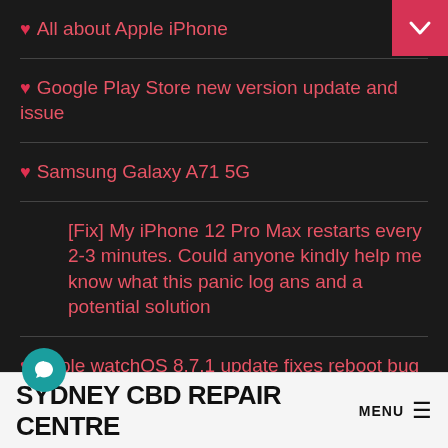All about Apple iPhone
Google Play Store new version update and issue
Samsung Galaxy A71 5G
[Fix] My iPhone 12 Pro Max restarts every 2-3 minutes. Could anyone kindly help me know what this panic log ans and a potential solution
Apple watchOS 8.7.1 update fixes reboot bug affecting Apple Watch Series 3 models
SYDNEY CBD REPAIR CENTRE MENU ☰